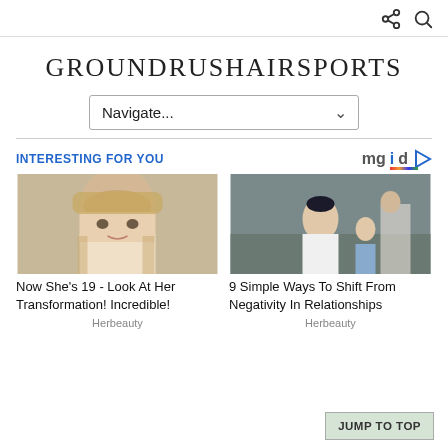[share icon] [search icon]
GROUNDRUSHAIRSPORTS
Navigate...
INTERESTING FOR YOU
[Figure (photo): Young blonde girl portrait]
Now She's 19 - Look At Her Transformation! Incredible!
Herbeauty
[Figure (photo): Woman with tattoos holding a baby outdoors]
9 Simple Ways To Shift From Negativity In Relationships
Herbeauty
JUMP TO TOP